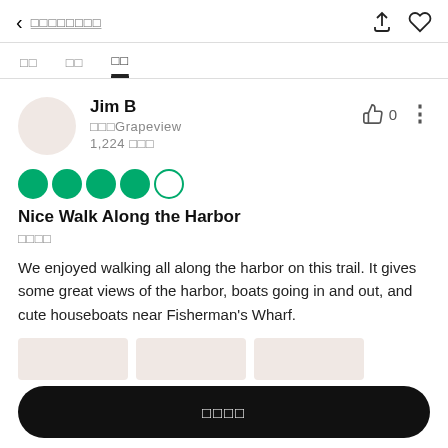< □□□□□□□□
□□  □□  □□
Jim B
□□□Grapeview
1,224 □□□
[Figure (other): 4.5 out of 5 green circles rating]
Nice Walk Along the Harbor
□□□□
We enjoyed walking all along the harbor on this trail. It gives some great views of the harbor, boats going in and out, and cute houseboats near Fisherman's Wharf.
□□□□